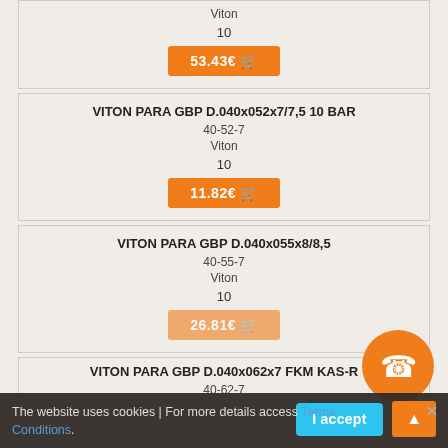Viton
10
53.43€
VITON PARA GBP D.040x052x7/7,5 10 BAR
40-52-7
Viton
10
11.82€
VITON PARA GBP D.040x055x8/8,5
40-55-7
Viton
10
26.81€
VITON PARA GBP D.040x062x7 FKM KAS-R
40-62-7
The website uses cookies | For more details access Terms Conditions.
I accept